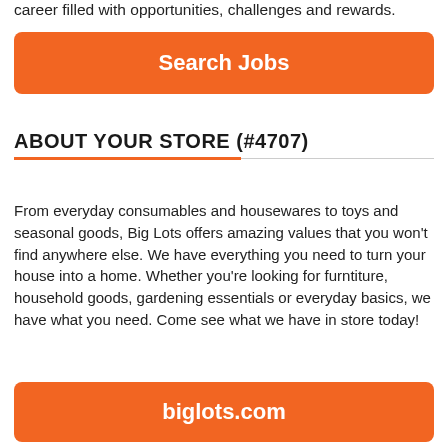career filled with opportunities, challenges and rewards.
Search Jobs
ABOUT YOUR STORE (#4707)
From everyday consumables and housewares to toys and seasonal goods, Big Lots offers amazing values that you won't find anywhere else. We have everything you need to turn your house into a home. Whether you're looking for furntiture, household goods, gardening essentials or everyday basics, we have what you need. Come see what we have in store today!
biglots.com